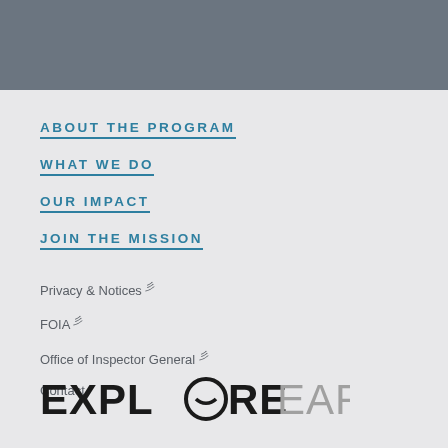[Figure (other): Dark grey header bar at the top of the page]
ABOUT THE PROGRAM
WHAT WE DO
OUR IMPACT
JOIN THE MISSION
Privacy & Notices (link)
FOIA (link)
Office of Inspector General (link)
Contact
[Figure (logo): EXPLORE EARTH logo with a stylized O containing an arc/moon shape. EXPLORE is in black bold, EARTH is in grey lighter weight.]